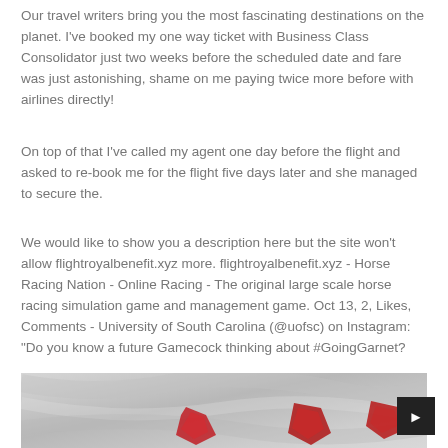Our travel writers bring you the most fascinating destinations on the planet. I've booked my one way ticket with Business Class Consolidator just two weeks before the scheduled date and fare was just astonishing, shame on me paying twice more before with airlines directly!
On top of that I've called my agent one day before the flight and asked to re-book me for the flight five days later and she managed to secure the.
We would like to show you a description here but the site won't allow flightroyalbenefit.xyz more. flightroyalbenefit.xyz - Horse Racing Nation - Online Racing - The original large scale horse racing simulation game and management game. Oct 13, 2, Likes, Comments - University of South Carolina (@uofsc) on Instagram: “Do you know a future Gamecock thinking about #GoingGarnet?
[Figure (photo): Close-up photo of white silky fabric with red decorative shapes/patches visible on it]